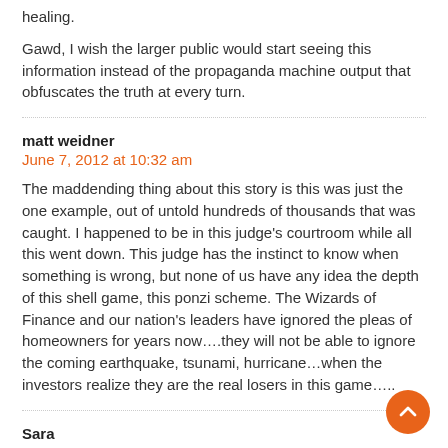healing.
Gawd, I wish the larger public would start seeing this information instead of the propaganda machine output that obfuscates the truth at every turn.
matt weidner
June 7, 2012 at 10:32 am
The maddending thing about this story is this was just the one example, out of untold hundreds of thousands that was caught. I happened to be in this judge's courtroom while all this went down. This judge has the instinct to know when something is wrong, but none of us have any idea the depth of this shell game, this ponzi scheme. The Wizards of Finance and our nation's leaders have ignored the pleas of homeowners for years now….they will not be able to ignore the coming earthquake, tsunami, hurricane…when the investors realize they are the real losers in this game…..
Sara
June 7, 2012 at 10:33 am
I don't think anyone should be at a loss for words here